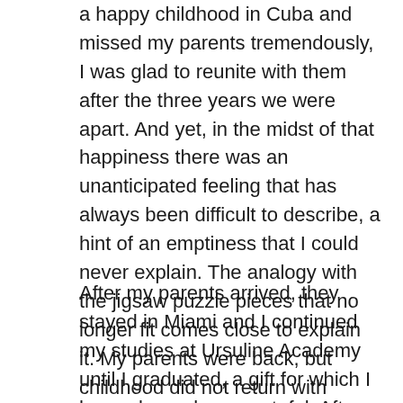a happy childhood in Cuba and missed my parents tremendously, I was glad to reunite with them after the three years we were apart. And yet, in the midst of that happiness there was an unanticipated feeling that has always been difficult to describe, a hint of an emptiness that I could never explain. The analogy with the jigsaw puzzle pieces that no longer fit comes close to explain it. My parents were back, but childhood did not return with them.
After my parents arrived, they stayed in Miami and I continued my studies at Ursuline Academy until I graduated, a gift for which I have always been grateful: After an additional year and a half away at college I eventually returned home to my